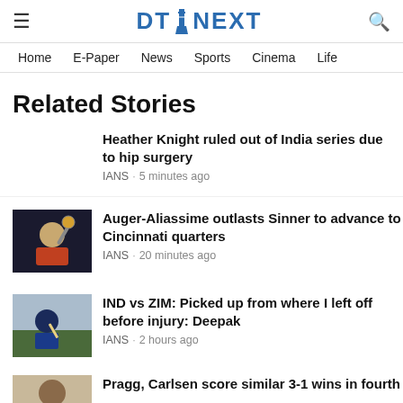DT NEXT — Home | E-Paper | News | Sports | Cinema | Life
Related Stories
Heather Knight ruled out of India series due to hip surgery
IANS · 5 minutes ago
[Figure (photo): Auger-Aliassime celebrating with trophy]
Auger-Aliassime outlasts Sinner to advance to Cincinnati quarters
IANS · 20 minutes ago
[Figure (photo): Cricket player fielding]
IND vs ZIM: Picked up from where I left off before injury: Deepak
IANS · 2 hours ago
[Figure (photo): Chess player portrait]
Pragg, Carlsen score similar 3-1 wins in fourth...